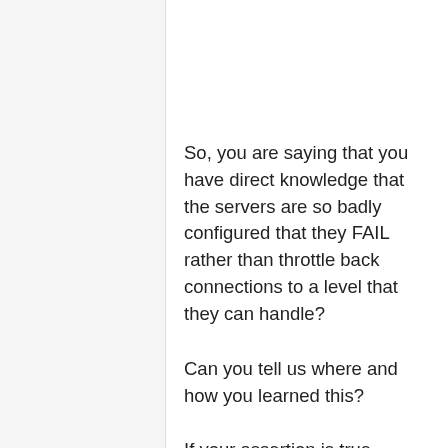So, you are saying that you have direct knowledge that the servers are so badly configured that they FAIL rather than throttle back connections to a level that they can handle?
Can you tell us where and how you learned this?
If your assertion is true, shouldn't be handled more directly by reconfiguring the servers rather than expecting 65k crunchers to configure their machines in some special way?
And by the way, I was never intending to be "...Engouraging [sic] people to keep that kind of a cache..."
I think that YOU should set YOUR